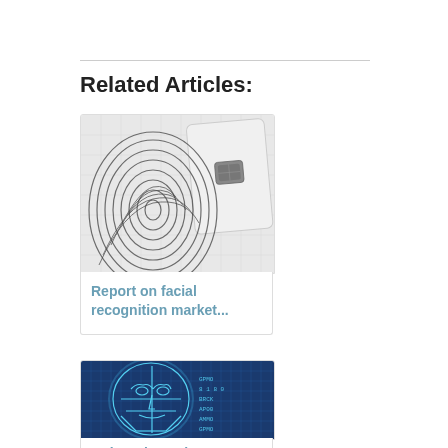Related Articles:
[Figure (illustration): Smart card with fingerprint background illustration — white/gray tones]
Report on facial recognition market...
[Figure (illustration): Digital face/head wireframe on blue background, facial recognition concept]
Animetrics to host...